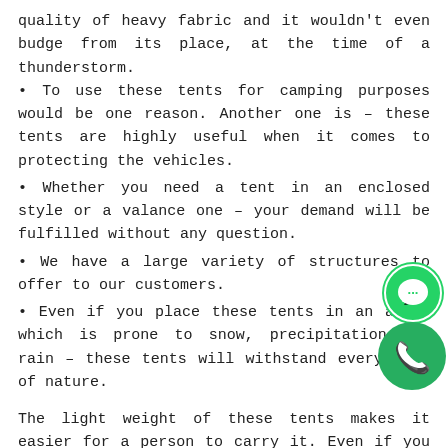quality of heavy fabric and it wouldn't even budge from its place, at the time of a thunderstorm.
To use these tents for camping purposes would be one reason. Another one is – these tents are highly useful when it comes to protecting the vehicles.
Whether you need a tent in an enclosed style or a valance one – your demand will be fulfilled without any question.
We have a large variety of structures to offer to our customers.
Even if you place these tents in an area, which is prone to snow, precipitation, or rain – these tents will withstand every face of nature.
The light weight of these tents makes it easier for a person to carry it. Even if you go mountaineering